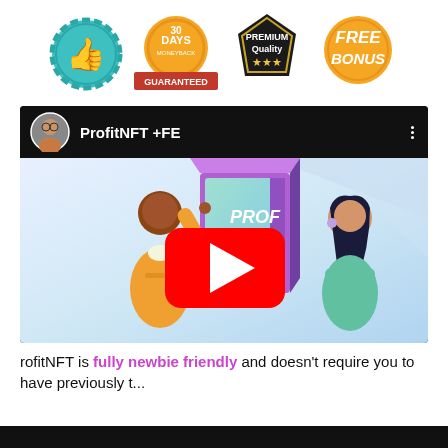[Figure (infographic): Four promotional badges in a row: teal thumbs-up badge, orange '30 Days Money Back Guaranteed' badge, black 'Premium Quality 3 stars' badge, orange 'Free Bonus' badge]
[Figure (screenshot): YouTube-style video player with black header showing a man avatar and 'ProfitNFT +FE' title, and a thumbnail showing two cartoon people with a product box and a red YouTube play button]
rofitNFT is fully newbie friendly and doesn't require you to have previously t...